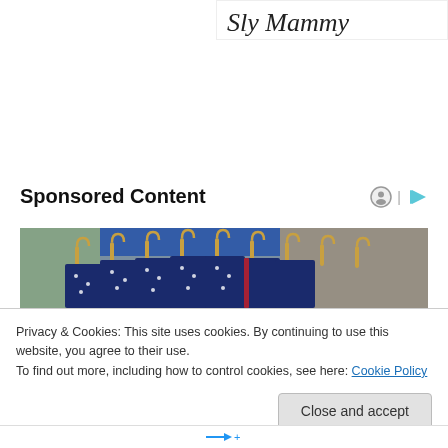[Figure (illustration): Cursive/script signature logo in black ink on white background in top right corner]
Sponsored Content
[Figure (photo): Close-up photo of clothing items on gold/brass hangers showing navy blue fabric with white polka dots and red accents, in a retail store setting with blurred background]
Privacy & Cookies: This site uses cookies. By continuing to use this website, you agree to their use.
To find out more, including how to control cookies, see here: Cookie Policy
Close and accept